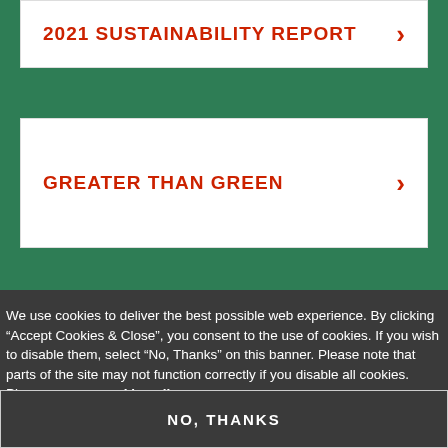2021 SUSTAINABILITY REPORT
GREATER THAN GREEN
We use cookies to deliver the best possible web experience. By clicking “Accept Cookies & Close”, you consent to the use of cookies. If you wish to disable them, select “No, Thanks” on this banner. Please note that parts of the site may not function correctly if you disable all cookies. Please see our cookie policy.
ACCEPT COOKIES & CLOSE
NO, THANKS